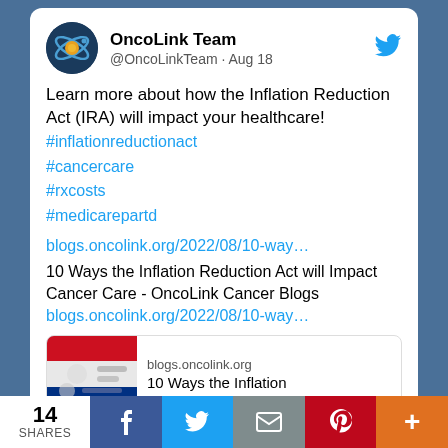[Figure (screenshot): OncoLink Team Twitter/X profile avatar - dark blue circle with orange/yellow orbit graphic]
OncoLink Team
@OncoLinkTeam · Aug 18
Learn more about how the Inflation Reduction Act (IRA) will impact your healthcare!
#inflationreductionact
#cancercare
#rxcosts
#medicarepartd
blogs.oncolink.org/2022/08/10-way…
10 Ways the Inflation Reduction Act will Impact Cancer Care - OncoLink Cancer Blogs blogs.oncolink.org/2022/08/10-way…
[Figure (screenshot): Preview card thumbnail showing pills/medications image with flag colors]
blogs.oncolink.org
10 Ways the Inflation
14
SHARES